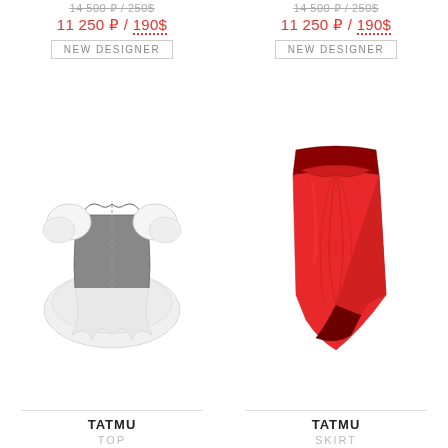14 500 ₽ / 250$
11 250 ₽ / 190$
NEW DESIGNER
[Figure (photo): Gray corset top with white puff sleeves and white tulle peplum hem]
TATMU
TOP
14 500 ₽ / 250$
11 250 ₽ / 190$
NEW DESIGNER
[Figure (photo): Red ruched midi skirt with front slit]
TATMU
SKIRT